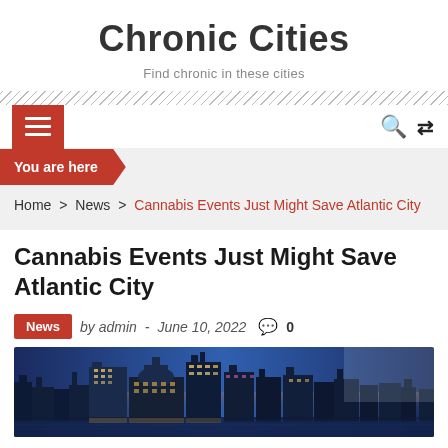Chronic Cities
Find chronic in these cities
Navigation bar with hamburger menu and search/shuffle icons
You are here
Home > News > Cannabis Events Just Might Save Atlantic City
Cannabis Events Just Might Save Atlantic City
News by admin - June 10, 2022 0
[Figure (photo): Atlantic City skyline at dusk/night with casino hotels lit up against a blue sky]